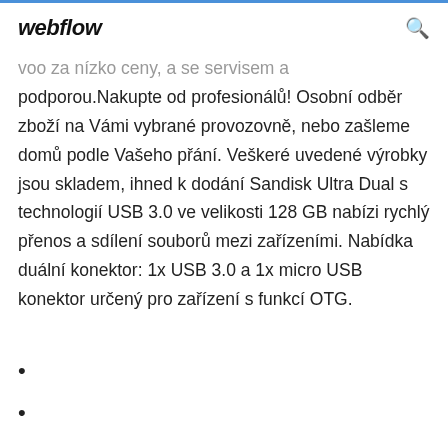webflow
voo za nízko ceny, a se servisem a podporou.Nakupte od profesionálů! Osobní odběr zboží na Vámi vybrané provozovně, nebo zašleme domů podle Vašeho přání. Veškeré uvedené výrobky jsou skladem, ihned k dodání Sandisk Ultra Dual s technologií USB 3.0 ve velikosti 128 GB nabízi rychlý přenos a sdílení souborů mezi zařízeními. Nabídka duální konektor: 1x USB 3.0 a 1x micro USB konektor určený pro zařízení s funkcí OTG.